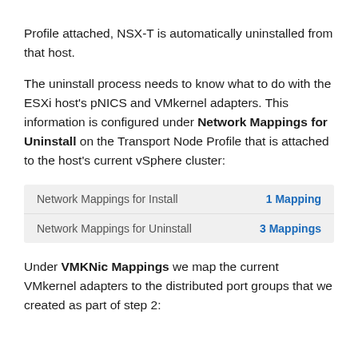Profile attached, NSX-T is automatically uninstalled from that host.
The uninstall process needs to know what to do with the ESXi host's pNICS and VMkernel adapters. This information is configured under Network Mappings for Uninstall on the Transport Node Profile that is attached to the host's current vSphere cluster:
|  |  |
| --- | --- |
| Network Mappings for Install | 1 Mapping |
| Network Mappings for Uninstall | 3 Mappings |
Under VMKNic Mappings we map the current VMkernel adapters to the distributed port groups that we created as part of step 2: